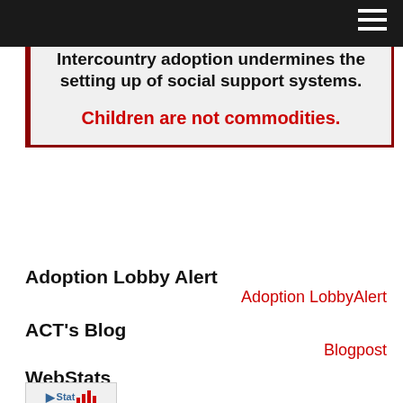Intercountry adoption undermines the setting up of social support systems.

Children are not commodities.
Adoption Lobby Alert
Adoption LobbyAlert
ACT's Blog
Blogpost
WebStats
[Figure (logo): Stat counter badge with bar chart icon]